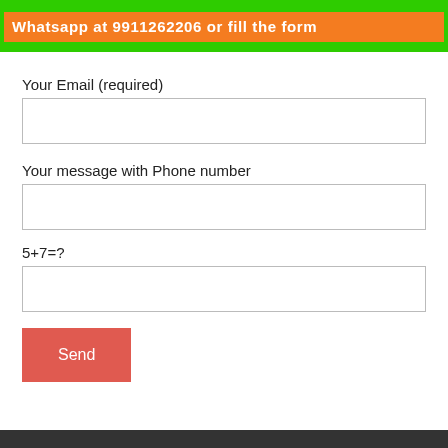[Figure (other): Green banner with orange bar containing text: Whatsapp at 9911262206 or fill the form]
Your Email (required)
Your message with Phone number
5+7=?
Send